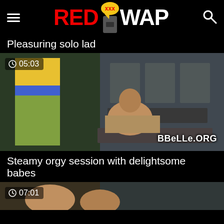RED xxx WAP
Pleasuring solo lad
[Figure (photo): Video thumbnail showing two people in a room, duration badge 05:03, watermark BBeLLe.ORG]
Steamy orgy session with delightsome babes
[Figure (photo): Video thumbnail partially visible, duration badge 07:01]